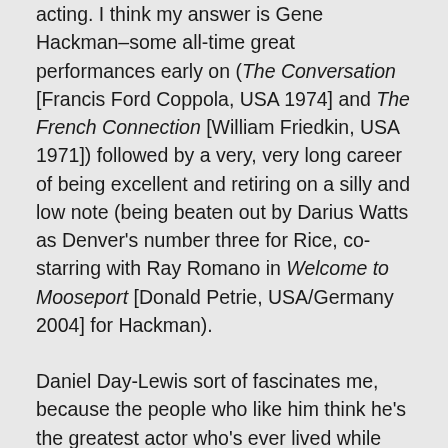acting. I think my answer is Gene Hackman–some all-time great performances early on (The Conversation [Francis Ford Coppola, USA 1974] and The French Connection [William Friedkin, USA 1971]) followed by a very, very long career of being excellent and retiring on a silly and low note (being beaten out by Darius Watts as Denver's number three for Rice, co-starring with Ray Romano in Welcome to Mooseport [Donald Petrie, USA/Germany 2004] for Hackman).
Daniel Day-Lewis sort of fascinates me, because the people who like him think he's the greatest actor who's ever lived while